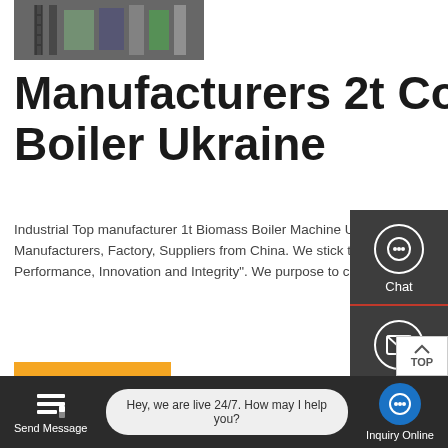[Figure (photo): Industrial/manufacturing facility interior with ladders and equipment — partially visible at top]
Manufacturers 2t Coal Boiler Ukraine
Industrial Top manufacturer 1t Biomass Boiler Machine Ukraine 2t/H Steam Boiler - Manufacturers, Factory, Suppliers from China. We stick to our enterprise spirit of "Quality, Performance, Innovation and Integrity". We purpose to create a lot more price for our
GET A QUOTE
[Figure (screenshot): Right-side floating widget panel with Chat, Email, and Contact icons on dark background]
[Figure (photo): Industrial boiler/tank equipment — bottom card image]
Package
Hey, we are live 24/7. How may I help you?
Send Message
Inquiry Online